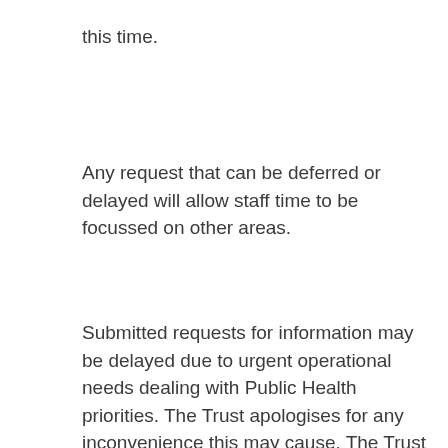this time.
Any request that can be deferred or delayed will allow staff time to be focussed on other areas.
Submitted requests for information may be delayed due to urgent operational needs dealing with Public Health priorities. The Trust apologises for any inconvenience this may cause. The Trust does remain committed to responding to your request and will reply as soon as